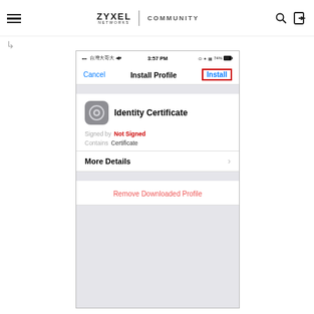ZYXEL NETWORKS | COMMUNITY
[Figure (screenshot): iOS iPhone screenshot showing the 'Install Profile' dialog for an Identity Certificate. Navigation bar shows Cancel on left, Install Profile as title, and Install button (highlighted with red border) on right. Certificate details show Signed by: Not Signed, Contains: Certificate. More Details row with chevron. Remove Downloaded Profile option in red. Gray background section at bottom.]